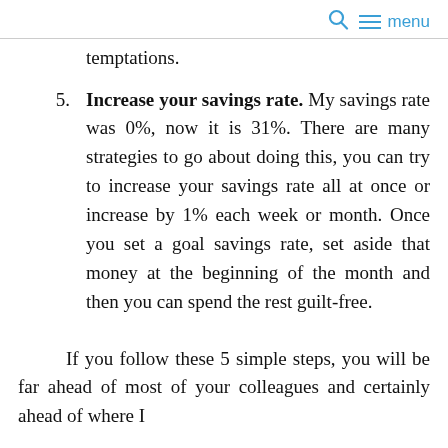🔍  ☰ menu
temptations.
5. Increase your savings rate. My savings rate was 0%, now it is 31%. There are many strategies to go about doing this, you can try to increase your savings rate all at once or increase by 1% each week or month. Once you set a goal savings rate, set aside that money at the beginning of the month and then you can spend the rest guilt-free.
If you follow these 5 simple steps, you will be far ahead of most of your colleagues and certainly ahead of where I